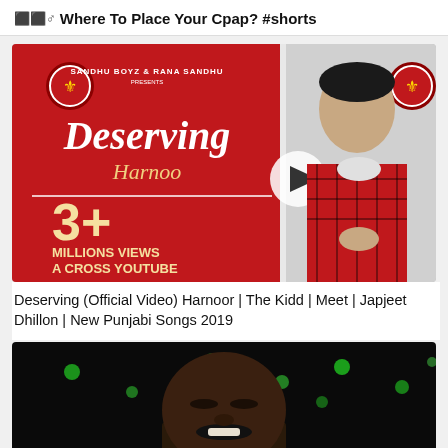🔲🔲♂ Where To Place Your Cpap? #shorts
[Figure (screenshot): YouTube video thumbnail for 'Deserving' by Harnoor - red background with '3+ MILLIONS VIEWS A CROSS YOUTUBE' text, showing artist in red plaid shirt, with play button overlay]
Deserving (Official Video) Harnoor | The Kidd | Meet | Japjeet Dhillon | New Punjabi Songs 2019
[Figure (screenshot): YouTube video thumbnail showing a dark-skinned man smiling, with green bokeh lights in the background on a black background]